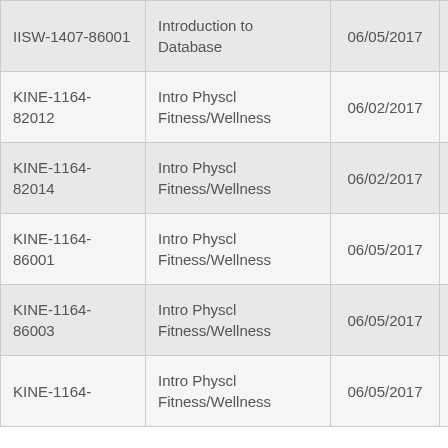| IISW-1407-86001 | Introduction to Database | 06/05/2017 | 07/06/2017 |
| KINE-1164-82012 | Intro Physcl Fitness/Wellness | 06/02/2017 | 07/08/2017 |
| KINE-1164-82014 | Intro Physcl Fitness/Wellness | 06/02/2017 | 07/08/2017 |
| KINE-1164-86001 | Intro Physcl Fitness/Wellness | 06/05/2017 | 07/06/2017 |
| KINE-1164-86003 | Intro Physcl Fitness/Wellness | 06/05/2017 | 07/06/2017 |
| KINE-1164-... | Intro Physcl Fitness/Wellness | 06/05/2017 | 07/06/2017 |